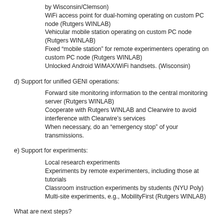by Wisconsin/Clemson)
WiFi access point for dual-homing operating on custom PC node (Rutgers WINLAB)
Vehicular mobile station operating on custom PC node (Rutgers WINLAB)
Fixed “mobile station” for remote experimenters operating on custom PC node (Rutgers WINLAB)
Unlocked Android WiMAX/WiFi handsets. (Wisconsin)
d) Support for unified GENI operations:
Forward site monitoring information to the central monitoring server (Rutgers WINLAB)
Cooperate with Rutgers WINLAB and Clearwire to avoid interference with Clearwire’s services
When necessary, do an “emergency stop” of your transmissions.
e) Support for experiments:
Local research experiments
Experiments by remote experimenters, including those at tutorials
Classroom instruction experiments by students (NYU Poly)
Multi-site experiments, e.g., MobilityFirst (Rutgers WINLAB)
What are next steps?